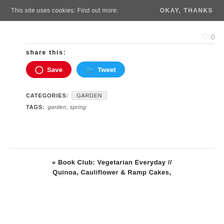This site uses cookies: Find out more.   OKAY, THANKS
♡ 0
share this:
[Figure (other): Pinterest Save button (red rounded) and Twitter Tweet button (blue rounded)]
CATEGORIES:  GARDEN
TAGS:  garden, spring
« Book Club: Vegetarian Everyday // Quinoa, Cauliflower & Ramp Cakes,